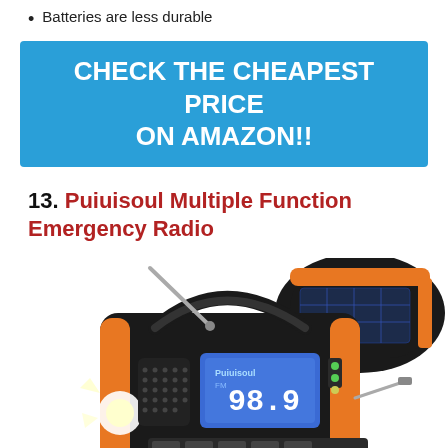Batteries are less durable
[Figure (other): Blue banner with white bold text: CHECK THE CHEAPEST PRICE ON AMAZON!!]
13. Puiuisoul Multiple Function Emergency Radio
[Figure (photo): Photo of an orange and black Puiuisoul emergency hand-crank solar radio with antenna, handle, FM display showing 98.9, flashlight, and a separate inset image of the solar panel on top.]